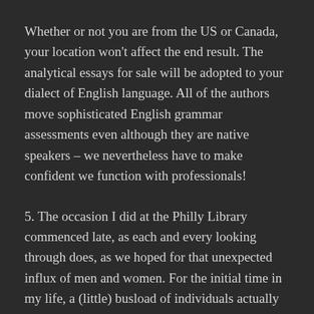Whether or not you are from the US or Canada, your location won't affect the end result. The analytical essays for sale will be adopted to your dialect of English language. All of the authors move sophisticated English grammar assessments even although they are native speakers – we nevertheless have to make confident we function with professionals!
5. The occasion I did at the Philly Library commenced late, as each and every looking through does, as we hoped for that unexpected influx of men and women. For the initial time in my life, a (little) busload of individuals actually did display up. The library companions with a local retirement house, and so about a dozen men and what should i write for my college essay women crammed in the seats. Then a colleague arrived, followed by a author